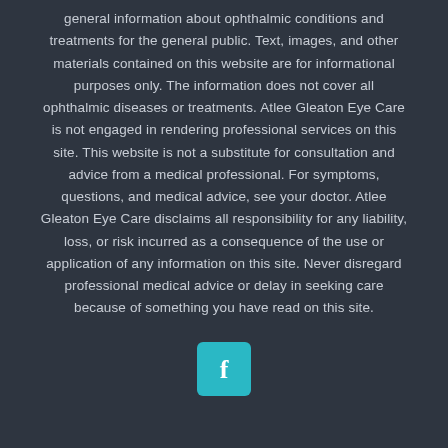general information about ophthalmic conditions and treatments for the general public. Text, images, and other materials contained on this website are for informational purposes only. The information does not cover all ophthalmic diseases or treatments. Atlee Gleaton Eye Care is not engaged in rendering professional services on this site. This website is not a substitute for consultation and advice from a medical professional. For symptoms, questions, and medical advice, see your doctor. Atlee Gleaton Eye Care disclaims all responsibility for any liability, loss, or risk incurred as a consequence of the use or application of any information on this site. Never disregard professional medical advice or delay in seeking care because of something you have read on this site.
[Figure (logo): Facebook logo icon — white letter f on a teal/cyan rounded square background]